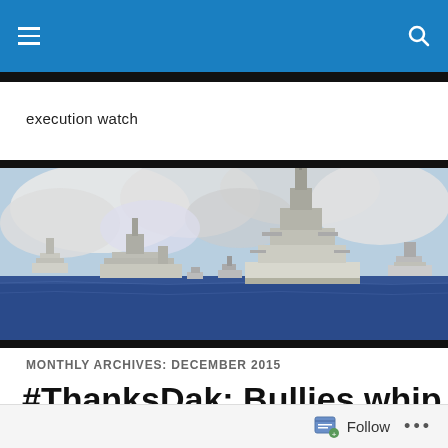navigation bar with hamburger menu and search icon
execution watch
[Figure (photo): Black and white / color photograph of naval warships at sea with cloudy sky in background]
MONTHLY ARCHIVES: DECEMBER 2015
#ThanksDak: Bullies whip Pack in Belk Bowl
Follow  ...